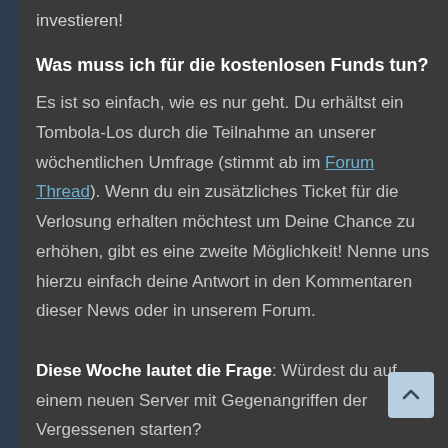investieren!
Was muss ich für die kostenlosen Funds tun?
Es ist so einfach, wie es nur geht. Du erhältst ein Tombola-Los durch die Teilnahme an unserer wöchentlichen Umfrage (stimmt ab im Forum Thread). Wenn du ein zusätzliches Ticket für die Verlosung erhalten möchtest um Deine Chance zu erhöhen, gibt es eine zweite Möglichkeit! Nenne uns hierzu einfach deine Antwort in den Kommentaren dieser News oder in unserem Forum.
Diese Woche lautet die Frage: Würdest du auf einem neuen Server mit Gegangriffen der Vergessenen starten?